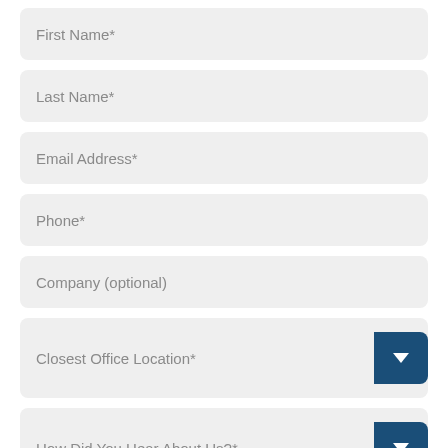First Name*
Last Name*
Email Address*
Phone*
Company (optional)
Closest Office Location*
How Did You Hear About Us?*
How Can We Help?*